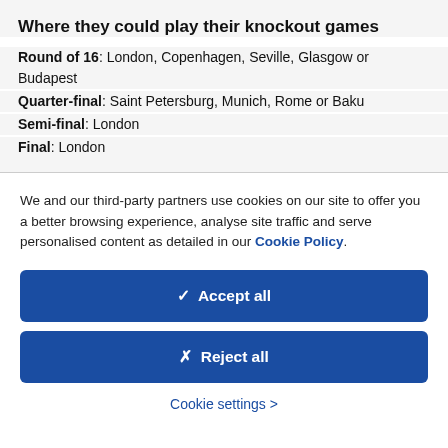Where they could play their knockout games
Round of 16: London, Copenhagen, Seville, Glasgow or Budapest
Quarter-final: Saint Petersburg, Munich, Rome or Baku
Semi-final: London
Final: London
We and our third-party partners use cookies on our site to offer you a better browsing experience, analyse site traffic and serve personalised content as detailed in our Cookie Policy.
✓  Accept all
✗  Reject all
Cookie settings >